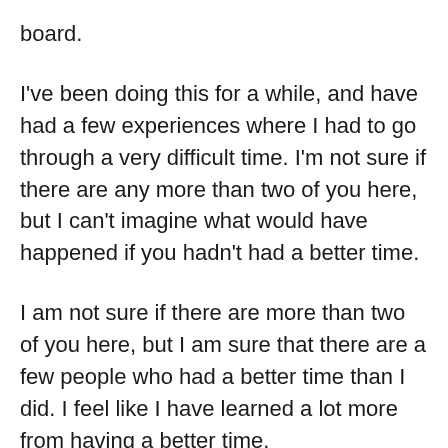board.
I've been doing this for a while, and have had a few experiences where I had to go through a very difficult time. I'm not sure if there are any more than two of you here, but I can't imagine what would have happened if you hadn't had a better time.
I am not sure if there are more than two of you here, but I am sure that there are a few people who had a better time than I did. I feel like I have learned a lot more from having a better time.
This may sound ridiculous, but I think the more